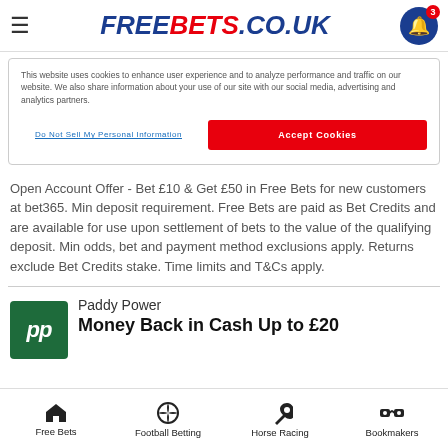FREEBETS.CO.UK
This website uses cookies to enhance user experience and to analyze performance and traffic on our website. We also share information about your use of our site with our social media, advertising and analytics partners.
Do Not Sell My Personal Information
Accept Cookies
Open Account Offer - Bet £10 & Get £50 in Free Bets for new customers at bet365. Min deposit requirement. Free Bets are paid as Bet Credits and are available for use upon settlement of bets to the value of the qualifying deposit. Min odds, bet and payment method exclusions apply. Returns exclude Bet Credits stake. Time limits and T&Cs apply.
Paddy Power
Money Back in Cash Up to £20
Free Bets | Football Betting | Horse Racing | Bookmakers